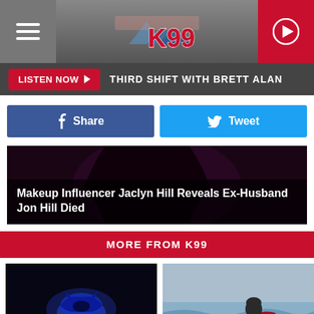[Figure (screenshot): K99 radio station website header with hamburger menu, K99 logo, and red play button]
LISTEN NOW  THIRD SHIFT WITH BRETT ALAN
Share
Tweet
[Figure (photo): Article thumbnail: Makeup Influencer Jaclyn Hill Reveals Ex-Husband Jon Hill Died]
MORE FROM K99
[Figure (photo): Batman logo projected on ground at night]
WATCH: How To Make A
[Figure (photo): Person dressed as The Joker riding a red jet ski on water]
'The Joker' Was Spotted Jet